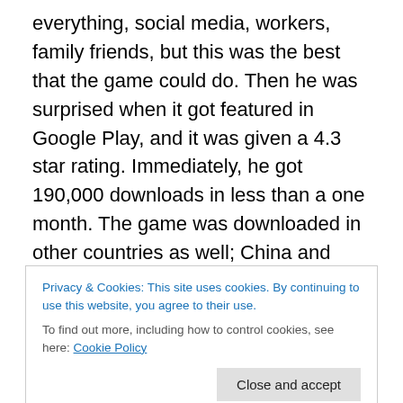everything, social media, workers, family friends, but this was the best that the game could do. Then he was surprised when it got featured in Google Play, and it was given a 4.3 star rating. Immediately, he got 190,000 downloads in less than a one month. The game was downloaded in other countries as well; China and Vietnam had the highest percentage of downloads; incidentally, these were also the countries that he translated the game too. Of the top 8 countries that downloaded the game, 7 were from Asia.  Overall, he said to focus on making a good game first. If your game is good, everyone would
Privacy & Cookies: This site uses cookies. By continuing to use this website, you agree to their use.
To find out more, including how to control cookies, see here: Cookie Policy
advice and feedback on how to improve our game, and he